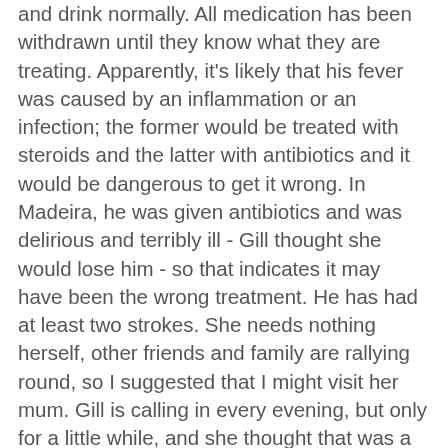and drink normally.  All medication has been withdrawn until they know what they are treating.  Apparently, it's likely that his fever was caused by an inflammation or an infection; the former would be treated with steroids and the latter with antibiotics and it would be dangerous to get it wrong.  In Madeira, he was given antibiotics and was delirious and terribly ill - Gill thought she would lose him - so that indicates it may have been the wrong treatment.  He has had at least two strokes.  She needs nothing herself, other friends and family are rallying round, so I suggested that I might visit her mum.  Gill is calling in every evening, but only for a little while, and she thought that was a good idea, so I rang Mum and have invited myself round tomorrow afternoon.  Anything for a free cup of tea, darlings.  She's a charming lady, and very talkative.  I will not need to say much.  Anyway, I thought that I could call in once or twice a week while things are tricky, and regularly after that.  She lives close to the High School and I'm there often enough, after all.  No trouble to pop in afterwards for half an hour or so, it's doing something that takes half a day that needs to be scheduled.
I've been given the carols for the Christmas Eve carol service, most of them are fine but one has a calypso-ish